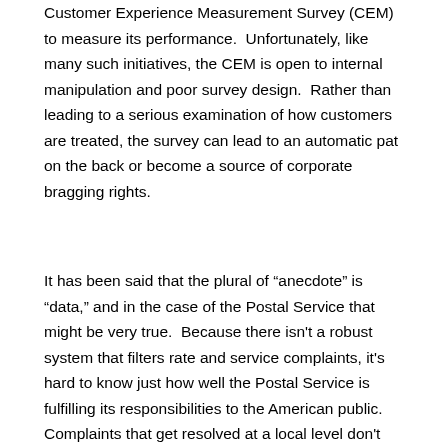Customer Experience Measurement Survey (CEM) to measure its performance.  Unfortunately, like many such initiatives, the CEM is open to internal manipulation and poor survey design.  Rather than leading to a serious examination of how customers are treated, the survey can lead to an automatic pat on the back or become a source of corporate bragging rights.
It has been said that the plural of “anecdote” is “data,” and in the case of the Postal Service that might be very true.  Because there isn't a robust system that filters rate and service complaints, it's hard to know just how well the Postal Service is fulfilling its responsibilities to the American public.  Complaints that get resolved at a local level don't get reported to or collected by an independent agency.  In dealing